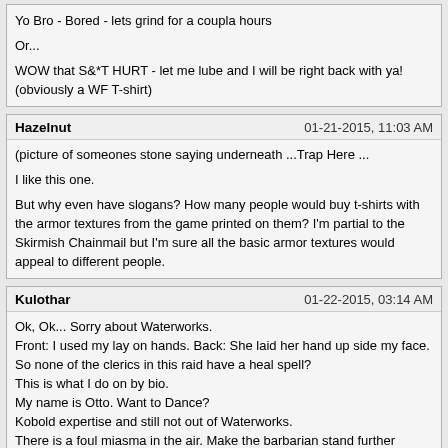Yo Bro - Bored - lets grind for a coupla hours

Or...

WOW that S&*T HURT - let me lube and I will be right back with ya! (obviously a WF T-shirt)
Hazelnut | 01-21-2015, 11:03 AM
(picture of someones stone saying underneath ...Trap Here ...

I like this one.

But why even have slogans? How many people would buy t-shirts with the armor textures from the game printed on them? I'm partial to the Skirmish Chainmail but I'm sure all the basic armor textures would appeal to different people.
Kulothar | 01-22-2015, 03:14 AM
Ok, Ok... Sorry about Waterworks.
Front: I used my lay on hands. Back: She laid her hand up side my face.
So none of the clerics in this raid have a heal spell?
This is what I do on by bio.
My name is Otto. Want to Dance?
Kobold expertise and still not out of Waterworks.
There is a foul miasma in the air. Make the barbarian stand further away..
Kulothar | 01-22-2015, 03:43 AM
Front: Cleric - I rez Barbarians. Back: It takes fewer SP than healing them.
Front: Cleric Back: No I DON'T have to rez you so you can zerg again.
Front: Cleric Back: Heal is a line of sight spell.